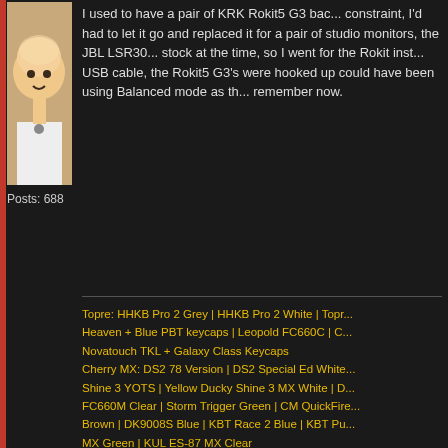[Figure (illustration): Anime-style avatar of a bald character in white outfit]
Posts: 688
I used to have a pair of KRK Rokit5 G3 back... constraint, I'd had to let it go and replaced it for a pair of studio monitors, the JBL LSR30... stock at the time, so I went for the Rokit inst... USB cable, the Rokit5 G3's were hooked up could have been using Balanced mode as th... remember now.
Topre: HHKB Pro 2 Grey | HHKB Pro 2 White | Topr... Heaven + Blue PBT keycaps | Leopold FC660C | C... Novatouch TKL + Galaxy Class Keycaps
Cherry MX: DS2 78 Version | DS2 Special Ed White... Shine 3 YOTS | Yellow Ducky Shine 3 MX White | D... FC660M Clear | Storm Trigger Green | CM QuickFire... Brown | DK9008S Blue | KBT Race 2 Blue | KBT Pu... MX Green | KUL ES-87 MX Clear
Darthbaggins
Re: Good PC speakers - purchased Ruark MR1 MarkII
« Reply #66 on: Sat, 19 February 2022, 08:46:42 »
[Figure (illustration): Avatar of a cartoon bearded man with glasses against orange/purple city skyline]
My speakers continue to collect dust now (K... SHP9500's for $50 USD new. So far loving